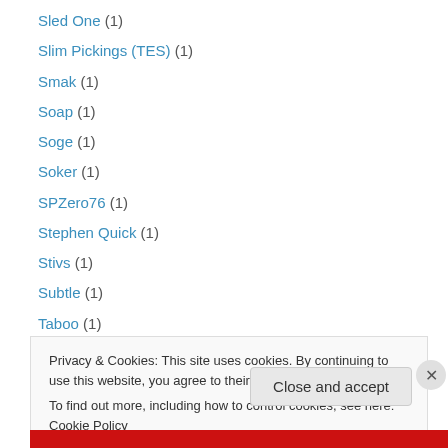Sled One (1)
Slim Pickings (TES) (1)
Smak (1)
Soap (1)
Soge (1)
Soker (1)
SPZero76 (1)
Stephen Quick (1)
Stivs (1)
Subtle (1)
Taboo (1)
Tasha Bee (1)
Three Dom – 3Dom (1)
Privacy & Cookies: This site uses cookies. By continuing to use this website, you agree to their use. To find out more, including how to control cookies, see here: Cookie Policy
Close and accept